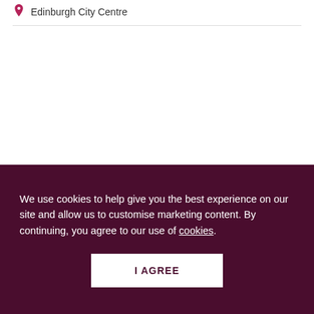Edinburgh City Centre
We use cookies to help give you the best experience on our site and allow us to customise marketing content. By continuing, you agree to our use of cookies.
I AGREE